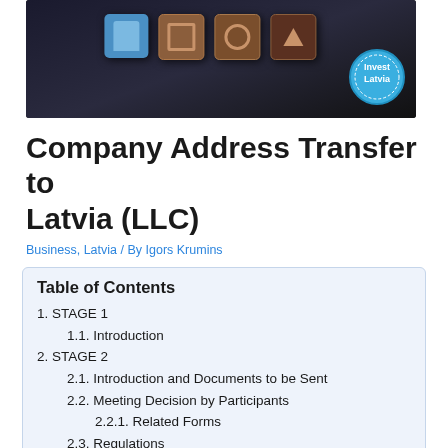[Figure (photo): Hero image showing wooden letter blocks on a dark background with an 'Invest Latvia' circular badge/stamp in the bottom right corner]
Company Address Transfer to Latvia (LLC)
Business, Latvia / By Igors Krumins
Table of Contents
1. STAGE 1
1.1. Introduction
2. STAGE 2
2.1. Introduction and Documents to be Sent
2.2. Meeting Decision by Participants
2.2.1. Related Forms
2.3. Regulations
2.3.1. Related Forms